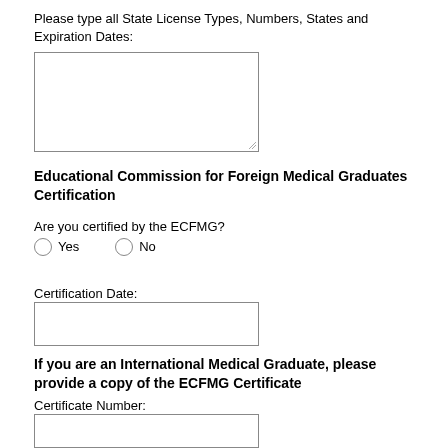Please type all State License Types, Numbers, States and Expiration Dates:
[Figure (other): Text input box for state license types, numbers, states and expiration dates]
Educational Commission for Foreign Medical Graduates Certification
Are you certified by the ECFMG?
Yes   No (radio buttons)
Certification Date:
[Figure (other): Text input box for certification date]
If you are an International Medical Graduate, please provide a copy of the ECFMG Certificate
Certificate Number:
[Figure (other): Text input box for certificate number]